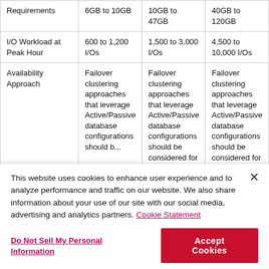| Requirements | 6GB to 10GB | 10GB to 47GB | 40GB to 120GB |
| I/O Workload at Peak Hour | 600 to 1,200 I/Os | 1,500 to 3,000 I/Os | 4,500 to 10,000 I/Os |
| Availability Approach | Failover clustering approaches that leverage Active/Passive database configurations should be... | Failover clustering approaches that leverage Active/Passive database configurations should be considered for this deployment. | Failover clustering approaches that leverage Active/Passive database configurations should be considered for this deployment. |
This website uses cookies to enhance user experience and to analyze performance and traffic on our website. We also share information about your use of our site with our social media, advertising and analytics partners. Cookie Statement
Do Not Sell My Personal Information
Accept Cookies